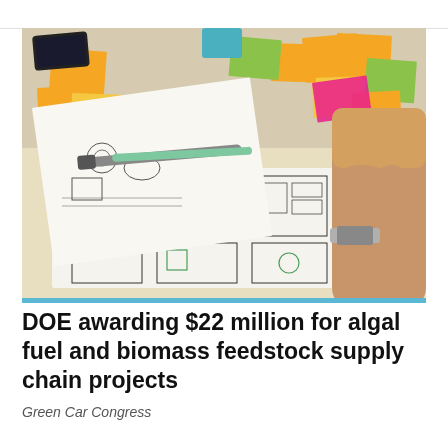[Figure (photo): People working around a table covered with sketched wireframe drawings on paper and colorful sticky notes (orange, yellow, green, pink). A person in the foreground is holding a green marker and drawing on the wireframe sheets. Another person's hands are visible pointing at the drawings. Markers and a phone are also on the table.]
DOE awarding $22 million for algal fuel and biomass feedstock supply chain projects
Green Car Congress